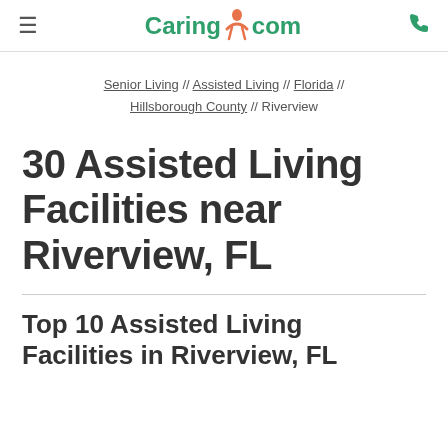≡  Caring.com  📞
Senior Living // Assisted Living // Florida // Hillsborough County // Riverview
30 Assisted Living Facilities near Riverview, FL
Top 10 Assisted Living Facilities in Riverview, FL